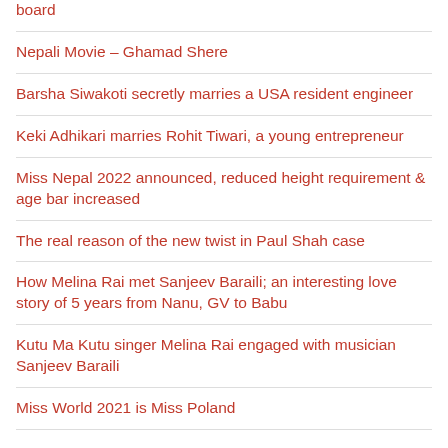board
Nepali Movie – Ghamad Shere
Barsha Siwakoti secretly marries a USA resident engineer
Keki Adhikari marries Rohit Tiwari, a young entrepreneur
Miss Nepal 2022 announced, reduced height requirement & age bar increased
The real reason of the new twist in Paul Shah case
How Melina Rai met Sanjeev Baraili; an interesting love story of 5 years from Nanu, GV to Babu
Kutu Ma Kutu singer Melina Rai engaged with musician Sanjeev Baraili
Miss World 2021 is Miss Poland